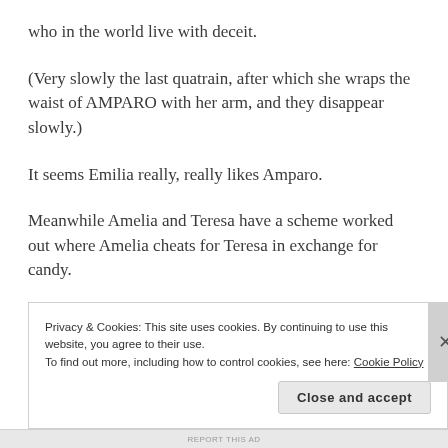who in the world live with deceit.
(Very slowly the last quatrain, after which she wraps the waist of AMPARO with her arm, and they disappear slowly.)
It seems Emilia really, really likes Amparo.
Meanwhile Amelia and Teresa have a scheme worked out where Amelia cheats for Teresa in exchange for candy.
Towards the end, Sagrario has learned her lesson about
Privacy & Cookies: This site uses cookies. By continuing to use this website, you agree to their use.
To find out more, including how to control cookies, see here: Cookie Policy
Close and accept
REPORT THIS AD